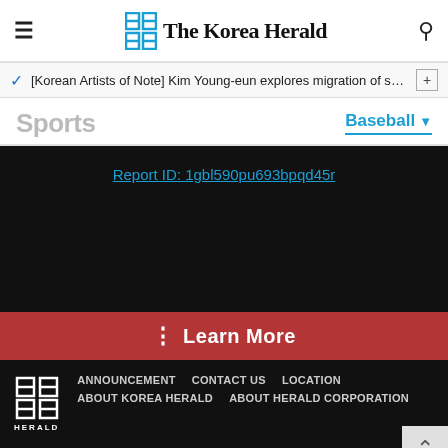The Korea Herald
[Korean Artists of Note] Kim Young-eun explores migration of sou···
Sports
Baseball
Report ID: 1gbl590pu693bpqd45r
Learn More
ANNOUNCEMENT  CONTACT US  LOCATION  ABOUT KOREA HERALD  ABOUT HERALD CORPORATION
View store hours, get directions, or call your salon!